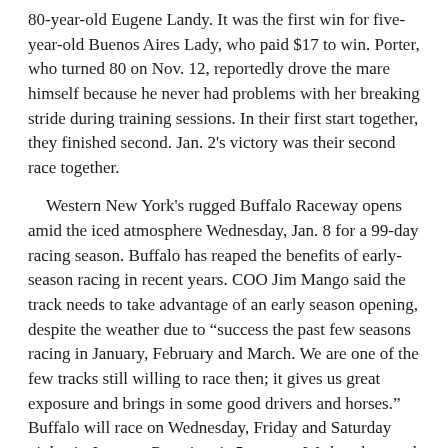80-year-old Eugene Landy. It was the first win for five-year-old Buenos Aires Lady, who paid $17 to win. Porter, who turned 80 on Nov. 12, reportedly drove the mare himself because he never had problems with her breaking stride during training sessions. In their first start together, they finished second. Jan. 2's victory was their second race together.
Western New York's rugged Buffalo Raceway opens amid the iced atmosphere Wednesday, Jan. 8 for a 99-day racing season. Buffalo has reaped the benefits of early-season racing in recent years. COO Jim Mango said the track needs to take advantage of an early season opening, despite the weather due to "success the past few seasons racing in January, February and March. We are one of the few tracks still willing to race then; it gives us great exposure and brings in some good drivers and horses." Buffalo will race on Wednesday, Friday and Saturday nights in January. Post time is 5 p.m. on Wednesdays and 6:40 p.m. on Friday and Saturday evenings. In February and March, Thursdays will be added with 5 p.m. start time.
Extraordinary Extras